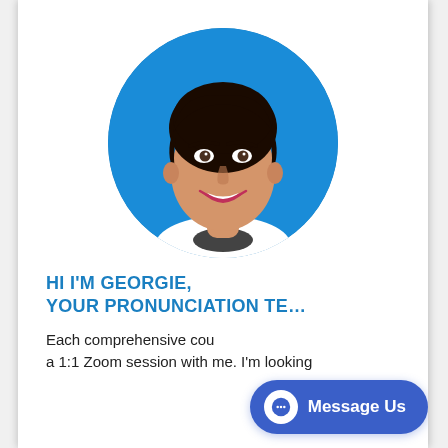[Figure (photo): Circular profile photo of a woman (Georgie) with short dark hair, smiling, against a blue background, wearing a white top.]
HI I'M GEORGIE,
YOUR PRONUNCIATION TE[ACHER]
Each comprehensive cou[rse includes] a 1:1 Zoom session with me. I'm looking